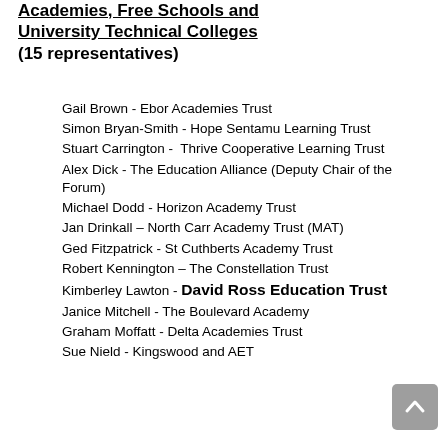Academies, Free Schools and University Technical Colleges (15 representatives)
Gail Brown - Ebor Academies Trust
Simon Bryan-Smith - Hope Sentamu Learning Trust
Stuart Carrington - Thrive Cooperative Learning Trust
Alex Dick - The Education Alliance (Deputy Chair of the Forum)
Michael Dodd - Horizon Academy Trust
Jan Drinkall – North Carr Academy Trust (MAT)
Ged Fitzpatrick - St Cuthberts Academy Trust
Robert Kennington – The Constellation Trust
Kimberley Lawton - David Ross Education Trust
Janice Mitchell - The Boulevard Academy
Graham Moffatt - Delta Academies Trust
Sue Nield - Kingswood and AET